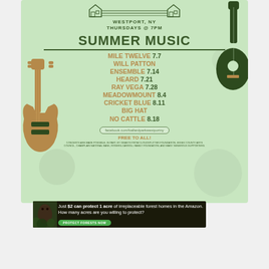[Figure (illustration): Summer music concert flyer for Ballard Park, Westport NY. Light green background with decorative guitar illustrations. Lists performers: Mile Twelve 7.7, Will Patton Ensemble 7.14, Heard 7.21, Ray Vega 7.28, Meadowmount 8.4, Cricket Blue 8.11, Big Hat No Cattle 8.18. Thursdays at 7PM. Free to all.]
[Figure (infographic): Amazon forest protection advertisement: Just $2 can protect 1 acre of irreplaceable forest homes in the Amazon. How many acres are you willing to protect? PROTECT FORESTS NOW button.]